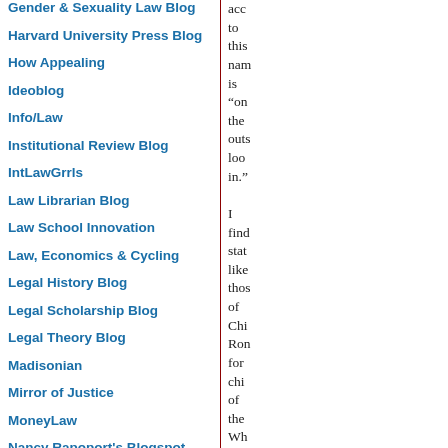Gender & Sexuality Law Blog
Harvard University Press Blog
How Appealing
Ideoblog
Info/Law
Institutional Review Blog
IntLawGrrls
Law Librarian Blog
Law School Innovation
Law, Economics & Cycling
Legal History Blog
Legal Scholarship Blog
Legal Theory Blog
Madisonian
Mirror of Justice
MoneyLaw
Nancy Rapoport's Blogspot
NYU Press Blog
acc to this nam is “on the outs loo in.” I find stat like thos of Chi Ron for chi of the Wh